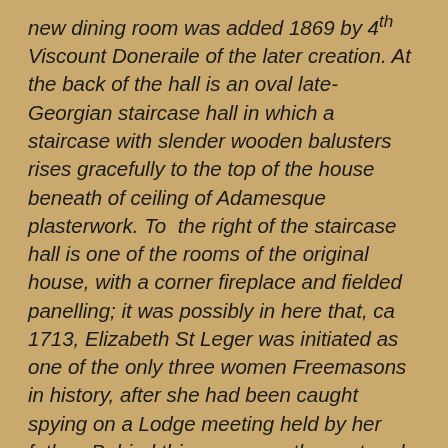new dining room was added 1869 by 4th Viscount Doneraile of the later creation. At the back of the hall is an oval late-Georgian staircase hall in which a staircase with slender wooden balusters rises gracefully to the top of the house beneath of ceiling of Adamesque plasterwork. To  the right of the staircase hall is one of the rooms of the original house, with a corner fireplace and fielded panelling; it was possibly in here that, ca 1713, Elizabeth St Leger was initiated as one of the only three women Freemasons in history, after she had been caught spying on a Lodge meeting held by her father. Behind this room was the vast and splendid dining room of 1869 which formerly had an immense mahogany sideboard in a mirrored alcove confronting a full-length portrait of the 4th Viscount with his favourite hunter. He was one of the greatest Victorian hunting men; ironically, he died of rabies through being bitten by a pet fox.  The three drawing rooms on the other side of the house are early C19 in character and